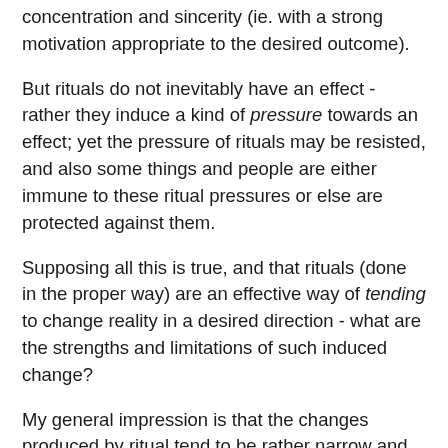concentration and sincerity (ie. with a strong motivation appropriate to the desired outcome).
But rituals do not inevitably have an effect - rather they induce a kind of pressure towards an effect; yet the pressure of rituals may be resisted, and also some things and people are either immune to these ritual pressures or else are protected against them.
Supposing all this is true, and that rituals (done in the proper way) are an effective way of tending to change reality in a desired direction - what are the strengths and limitations of such induced change?
My general impression is that the changes produced by ritual tend to be rather narrow and specific. A 'good' ritual cannot make people all-round-good, but may make them behave better in some specific way (either doing some thing, or not doing some other thing).
And the same for evil rituals. They may harm people, torment them, put ideas into their heads, make them do